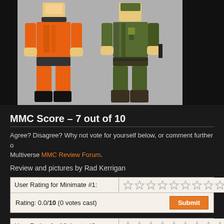[Figure (photo): Two Minimate toy figures: an orange one on the left and an olive/green military one on the right, photographed against a gray background.]
MMC Score – 7 out of 10
Agree? Disagree? Why not vote for yourself below, or comment further on the Multiverse MMC Review Forum.
Review and pictures by Rad Kerrigan
| User Rating for Minimate #1: | ★★★★★★★★★★ |
| --- | --- |
| Rating: 0.0/10 (0 votes cast) | Submit |
| User Rating for Minimate #2: | ★★★★★★★★★★ |
| --- | --- |
| Rating: 0.0/10 (0 votes cast) | Submit |